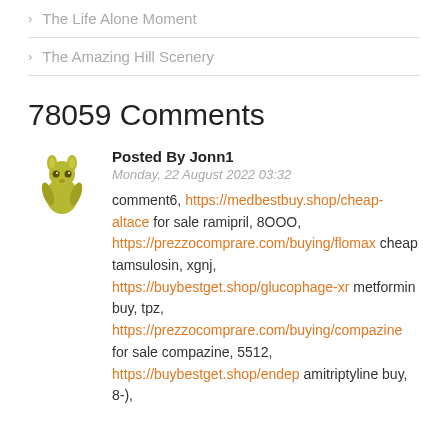> The Life Alone Moment
> The Amazing Hill Scenery
78059 Comments
Posted By Jonn1
Monday, 22 August 2022 03:32
comment6, https://medbestbuy.shop/cheap-altace for sale ramipril, 8OOO, https://prezzocomprare.com/buying/flomax cheap tamsulosin, xgnj, https://buybestget.shop/glucophage-xr metformin buy, tpz, https://prezzocomprare.com/buying/compazine for sale compazine, 5512, https://buybestget.shop/endep amitriptyline buy, 8-),